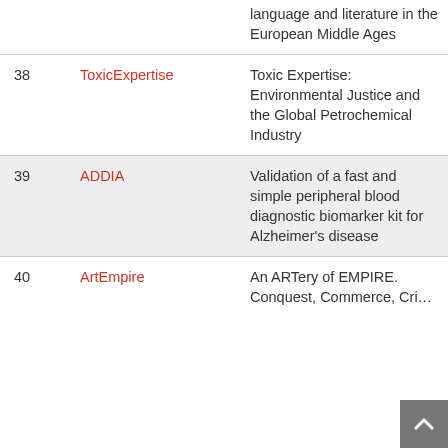| # | Name | Description |
| --- | --- | --- |
|  |  | language and literature in the European Middle Ages |
| 38 | ToxicExpertise | Toxic Expertise: Environmental Justice and the Global Petrochemical Industry |
| 39 | ADDIA | Validation of a fast and simple peripheral blood diagnostic biomarker kit for Alzheimer's disease |
| 40 | ArtEmpire | An ARTery of EMPIRE. Conquest, Commerce, Crisis… |